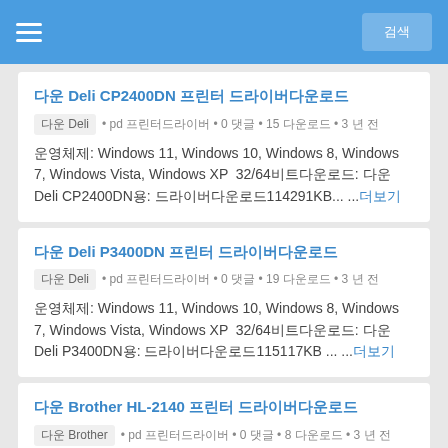검색 버튼
다운 Deli CP2400DN 프린터 드라이버다운로드
다운 Deli • pd 프린터드라이버 • 0 댓글 • 15 다운로드 • 3 년 전
운영체제: Windows 11, Windows 10, Windows 8, Windows 7, Windows Vista, Windows XP  32/64비트다운로드: 다운 Deli CP2400DN용: 드라이버다운로드114291KB... ...더보기
다운 Deli P3400DN 프린터 드라이버다운로드
다운 Deli • pd 프린터드라이버 • 0 댓글 • 19 다운로드 • 3 년 전
운영체제: Windows 11, Windows 10, Windows 8, Windows 7, Windows Vista, Windows XP  32/64비트다운로드: 다운 Deli P3400DN용: 드라이버다운로드115117KB ... ...더보기
다운 Brother HL-2140 프린터 드라이버다운로드
다운 Brother • pd 프린터드라이버 • 0 댓글 • 8 다운로드 • 3 년 전
운영체제: Windows 11, Windows 10, Windows 8, Windows 7,